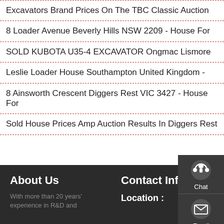Excavators Brand Prices On The TBC Classic Auction
8 Loader Avenue Beverly Hills NSW 2209 - House For
SOLD KUBOTA U35-4 EXCAVATOR Ongmac Lismore
Leslie Loader House Southampton United Kingdom -
8 Ainsworth Crescent Diggers Rest VIC 3427 - House For
Sold House Prices Amp Auction Results In Diggers Rest
[Figure (infographic): Floating contact widget panel with Chat (headset icon), Email (envelope icon), and Contact (speech bubble icon) buttons on dark background]
About Us
With more than 20 years' experience in R&D and
Contact Info
Location :